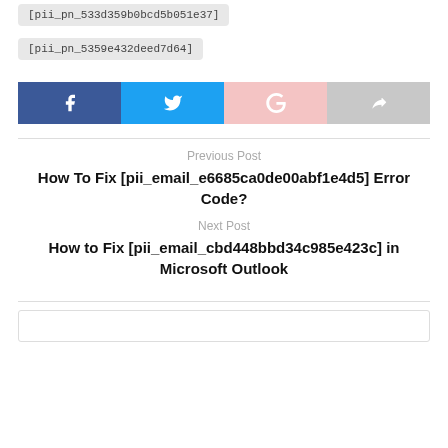[pii_pn_533d359b0bcd5b051e37]
[pii_pn_5359e432deed7d64]
[Figure (infographic): Social share buttons: Facebook (dark blue), Twitter (light blue), Google+ (light pink), Share (gray)]
Previous Post
How To Fix [pii_email_e6685ca0de00abf1e4d5] Error Code?
Next Post
How to Fix [pii_email_cbd448bbd34c985e423c] in Microsoft Outlook